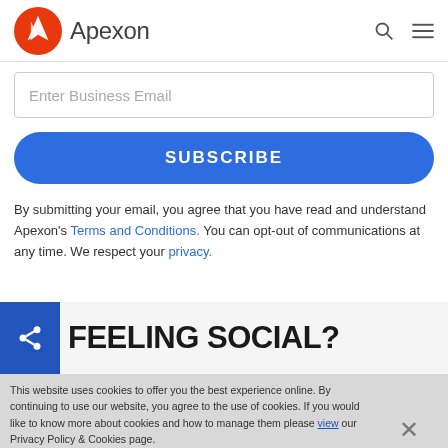Apexon
Enter Business Email
SUBSCRIBE
By submitting your email, you agree that you have read and understand Apexon's Terms and Conditions. You can opt-out of communications at any time. We respect your privacy.
FEELING SOCIAL?
This website uses cookies to offer you the best experience online. By continuing to use our website, you agree to the use of cookies. If you would like to know more about cookies and how to manage them please view our Privacy Policy & Cookies page.